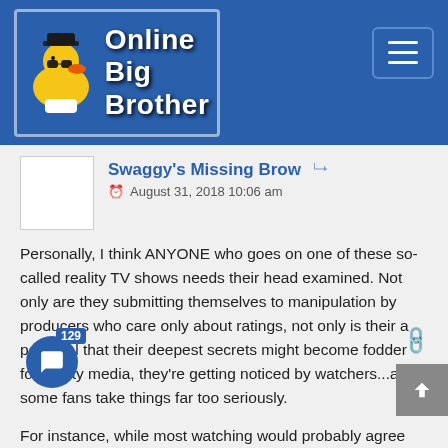Online Big Brother
Swaggy's Missing Brow  August 31, 2018 10:06 am
Personally, I think ANYONE who goes on one of these so-called reality TV shows needs their head examined. Not only are they submitting themselves to manipulation by producers who care only about ratings, not only is their a potential that their deepest secrets might become fodder for reality media, they're getting noticed by watchers...and some fans take things far too seriously.
For instance, while most watching would probably agree that Fessie isn't the sharpest knife in the drawer, some fans (apparently Scottie fans) took it upon themselves to go after him outside of the house. Fessie has a fitness app, and